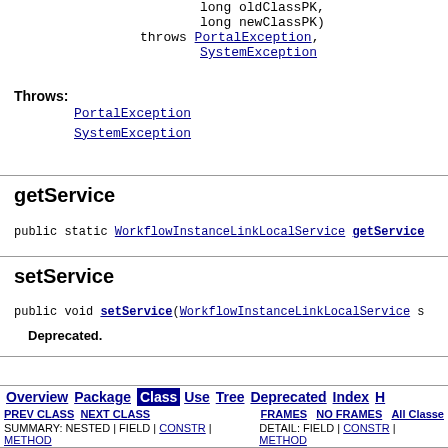long oldClassPK,
long newClassPK)
throws PortalException,
SystemException
Throws:
PortalException
SystemException
getService
public static WorkflowInstanceLinkLocalService getService
setService
public void setService(WorkflowInstanceLinkLocalService s
Deprecated.
Overview Package Class Use Tree Deprecated Index H
PREV CLASS NEXT CLASS FRAMES NO FRAMES All Classes
SUMMARY: NESTED | FIELD | CONSTR | METHOD DETAIL: FIELD | CONSTR | METHOD